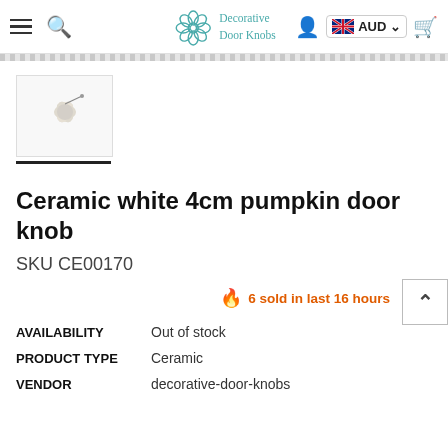Decorative Door Knobs — AUD navigation bar
[Figure (photo): Small thumbnail photo of a white ceramic pumpkin door knob on white background, with a black underline beneath the thumbnail]
Ceramic white 4cm pumpkin door knob
SKU CE00170
🔥 6 sold in last 16 hours
| AVAILABILITY | Out of stock |
| PRODUCT TYPE | Ceramic |
| VENDOR | decorative-door-knobs |